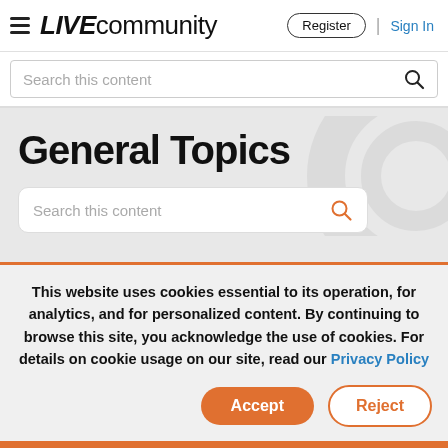LIVE community | Register | Sign In
Search this content
General Topics
Search this content
This website uses cookies essential to its operation, for analytics, and for personalized content. By continuing to browse this site, you acknowledge the use of cookies. For details on cookie usage on our site, read our Privacy Policy
Accept | Reject